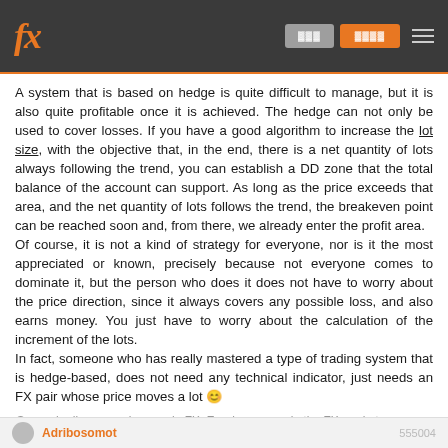fx
A system that is based on hedge is quite difficult to manage, but it is also quite profitable once it is achieved. The hedge can not only be used to cover losses. If you have a good algorithm to increase the lot size, with the objective that, in the end, there is a net quantity of lots always following the trend, you can establish a DD zone that the total balance of the account can support. As long as the price exceeds that area, and the net quantity of lots follows the trend, the breakeven point can be reached soon and, from there, we already enter the profit area.
Of course, it is not a kind of strategy for everyone, nor is it the most appreciated or known, precisely because not everyone comes to dominate it, but the person who does it does not have to worry about the price direction, since it always covers any possible loss, and also earns money. You just have to worry about the calculation of the increment of the lots.
In fact, someone who has really mastered a type of trading system that is hedge-based, does not need any technical indicator, just needs an FX pair whose price moves a lot 😊
Ganando dinero en el mercado FX. Earning money in the FX market.
Adribosomot 555004